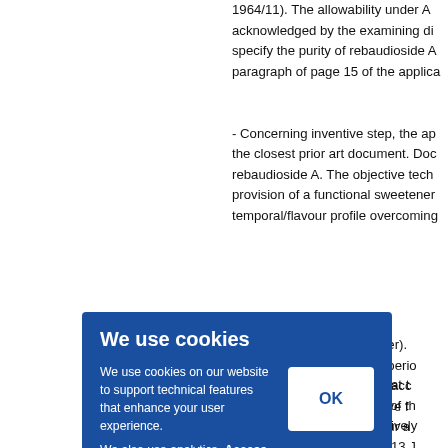1964/11). The allowability under A... acknowledged by the examining di... specify the purity of rebaudioside A... paragraph of page 15 of the applica...
- Concerning inventive step, the ap... the closest prior art document. Doc... rebaudioside A. The objective tech... provision of a functional sweetener... temporal/flavour profile overcoming...
ger). ...uperiо... g acc... ave f... our a...
that t... s of th... atively... d 13 J...
We use cookies

We use cookies on our website to support technical features that enhance your user experience.

We also use analytics. Access full information on cookies that we use and how to manage them